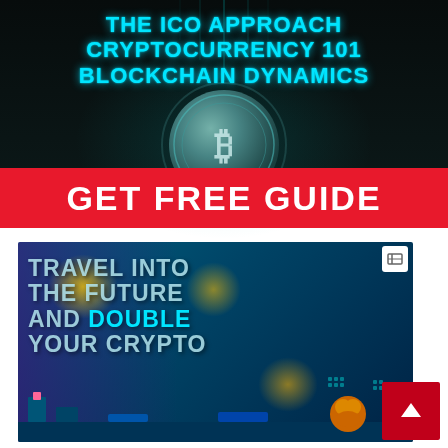[Figure (illustration): Dark banner with cryptocurrency coin in center glowing teal/green, with circuit board aesthetic background. Text overlay reads THE ICO APPROACH / CRYPTOCURRENCY 101 / BLOCKCHAIN DYNAMICS in cyan bold letters. Red bar below reads GET FREE GUIDE in white bold letters.]
[Figure (illustration): Colorful futuristic crypto game advertisement. Teal/purple illustrated cityscape with glowing yellow orbs. Bold text: TRAVEL INTO THE FUTURE AND DOUBLE YOUR CRYPTO. Small icon in top-right corner. Red scroll-to-top button bottom right.]